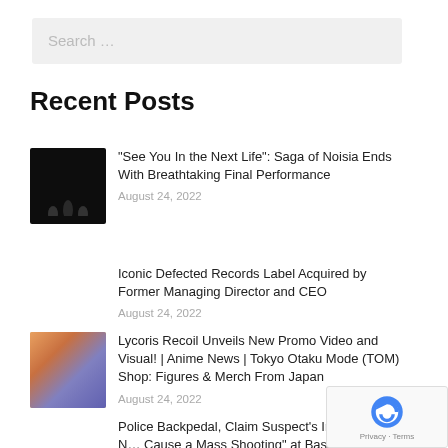Search …
Recent Posts
[Figure (photo): Dark concert/performance photo with small silhouettes visible]
"See You In the Next Life": Saga of Noisia Ends With Breathtaking Final Performance
August 24, 2022
Iconic Defected Records Label Acquired by Former Managing Director and CEO
August 24, 2022
[Figure (photo): Anime scene from Lycoris Recoil showing two characters]
Lycoris Recoil Unveils New Promo Video and Visual! | Anime News | Tokyo Otaku Mode (TOM) Shop: Figures & Merch From Japan
August 24, 2022
Police Backpedal, Claim Suspect's Intent Was N… Cause a Mass Shooting" at Bass Canyon Festival